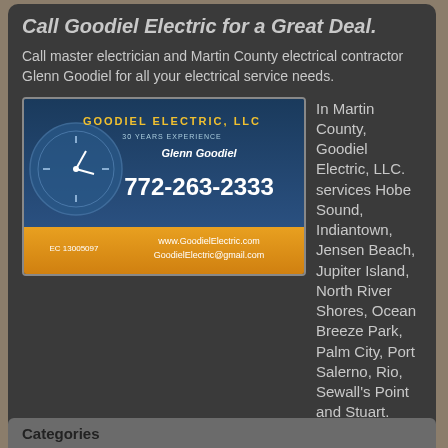Call Goodiel Electric for a Great Deal.
Call master electrician and Martin County electrical contractor Glenn Goodiel for all your electrical service needs.
[Figure (illustration): Goodiel Electric, LLC advertisement showing company logo, phone number 772-263-2333, website www.GoodielElectric.com, email GoodielElectric@gmail.com, license EC 13005097, 30 years experience, Glenn Goodiel]
In Martin County, Goodiel Electric, LLC. services Hobe Sound, Indiantown, Jensen Beach, Jupiter Island, North River Shores, Ocean Breeze Park, Palm City, Port Salerno, Rio, Sewall's Point and Stuart.
Categories